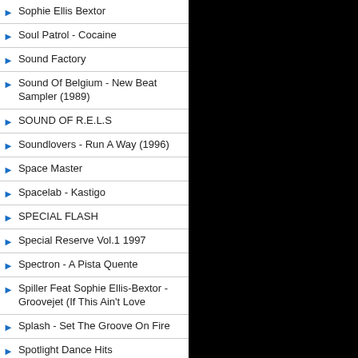Sophie Ellis Bextor
Soul Patrol - Cocaine
Sound Factory
Sound Of Belgium - New Beat Sampler (1989)
SOUND OF R.E.L.S
Soundlovers - Run A Way (1996)
Space Master
Spacelab - Kastigo
SPECIAL FLASH
Special Reserve Vol.1 1997
Spectron - A Pista Quente
Spiller Feat Sophie Ellis-Bextor - Groovejet (If This Ain't Love
Splash - Set The Groove On Fire
Spotlight Dance Hits